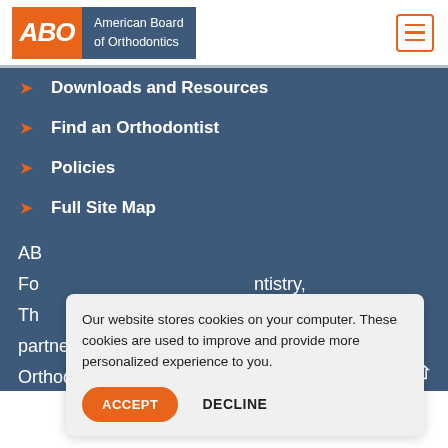[Figure (logo): American Board of Orthodontics logo with orange ABO letters and dark blue text panel]
Downloads and Resources
Find an Orthodontist
Policies
Full Site Map
AB... Fo... ntistry, Th... partnered with the American Association of Orthodontists and is recognized by the National
Our website stores cookies on your computer. These cookies are used to improve and provide more personalized experience to you.